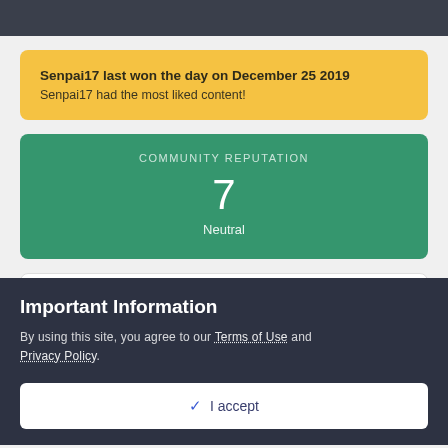Senpai17 last won the day on December 25 2019
Senpai17 had the most liked content!
[Figure (infographic): Community Reputation panel showing the number 7 with label Neutral]
About Senpai17
Important Information
By using this site, you agree to our Terms of Use and Privacy Policy.
✓  I accept